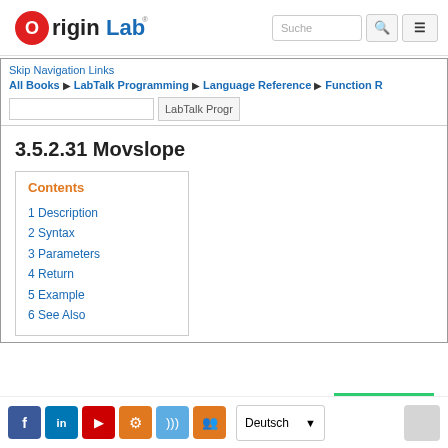[Figure (logo): OriginLab logo with red circle-O and blue 'Lab' text]
Suche
Skip Navigation Links
All Books ▶ LabTalk Programming ▶ Language Reference ▶ Function R
LabTalk Progr
3.5.2.31 Movslope
Contents
1 Description
2 Syntax
3 Parameters
4 Return
5 Example
6 See Also
Deutsch